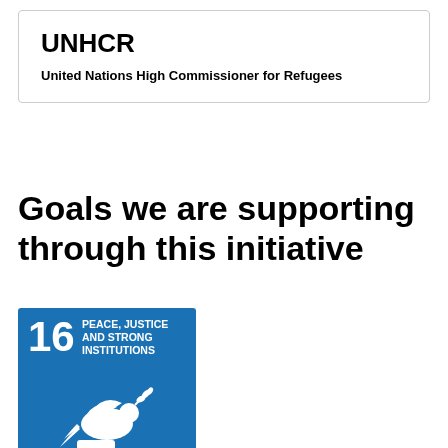UNHCR
United Nations High Commissioner for Refugees
Goals we are supporting through this initiative
[Figure (logo): SDG Goal 16 badge - Peace, Justice and Strong Institutions. Blue square with number 16 and white dove with olive branch icon.]